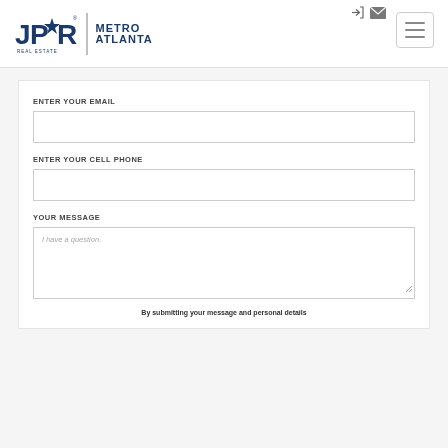JPAR Real Estate Metro Atlanta - header with login and mail icons and hamburger menu
ENTER YOUR EMAIL
ENTER YOUR CELL PHONE
YOUR MESSAGE
I have a question.
By submitting your message and personal details